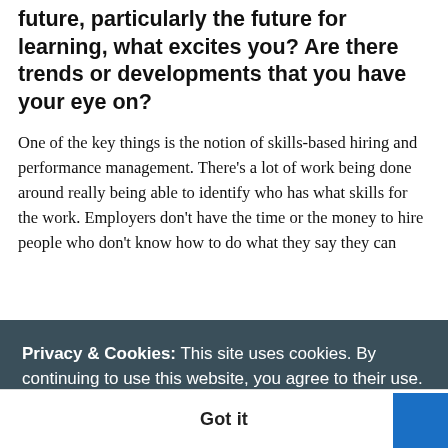future, particularly the future for learning, what excites you? Are there trends or developments that you have your eye on?
One of the key things is the notion of skills-based hiring and performance management. There's a lot of work being done around really being able to identify who has what skills for the work. Employers don't have the time or the money to hire people who don't know how to do what they say they can
Privacy & Cookies: This site uses cookies. By continuing to use this website, you agree to their use. To find out more, including how to control cookies, view our Privacy Policy
Got it